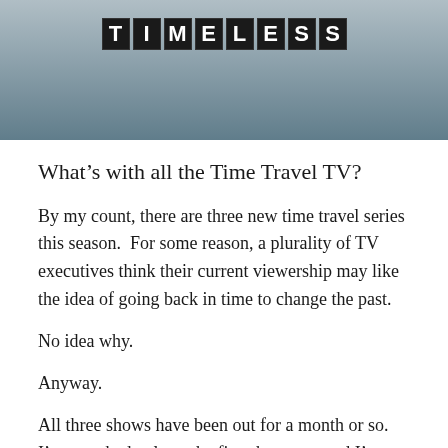[Figure (photo): A banner image showing the TV show logo 'TIMELESS' with split-flap display style letters against a blue-grey background sky]
What’s with all the Time Travel TV?
By my count, there are three new time travel series this season.  For some reason, a plurality of TV executives think their current viewership may like the idea of going back in time to change the past.
No idea why.
Anyway.
All three shows have been out for a month or so.  I’ve watched at least the first three eps, and I’m gonna be evaluating each on a set of criteria that will make little sense if you’ve never watched Doctor Who.*